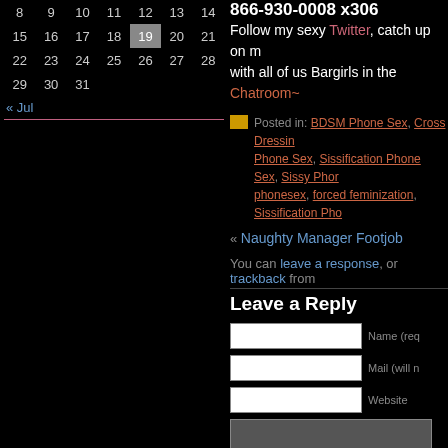| 8 | 9 | 10 | 11 | 12 | 13 | 14 |
| 15 | 16 | 17 | 18 | 19 | 20 | 21 |
| 22 | 23 | 24 | 25 | 26 | 27 | 28 |
| 29 | 30 | 31 |  |  |  |  |
« Jul
866-930-0008 x306
Follow my sexy Twitter, catch up on m with all of us Bargirls in the Chatroom~
Posted in: BDSM Phone Sex, Cross Dressing Phone Sex, Sissification Phone Sex, Sissy Phor phonesex, forced feminization, Sissification Pho
« Naughty Manager Footjob
You can leave a response, or trackback from
Leave a Reply
Name (req
Mail (will n
Website